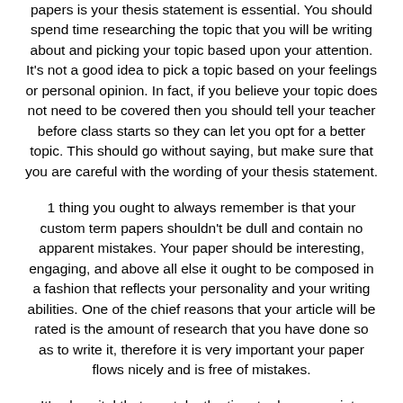papers is your thesis statement is essential. You should spend time researching the topic that you will be writing about and picking your topic based upon your attention. It's not a good idea to pick a topic based on your feelings or personal opinion. In fact, if you believe your topic does not need to be covered then you should tell your teacher before class starts so they can let you opt for a better topic. This should go without saying, but make sure that you are careful with the wording of your thesis statement.
1 thing you ought to always remember is that your custom term papers shouldn't be dull and contain no apparent mistakes. Your paper should be interesting, engaging, and above all else it ought to be composed in a fashion that reflects your personality and your writing abilities. One of the chief reasons that your article will be rated is the amount of research that you have done so as to write it, therefore it is very important your paper flows nicely and is free of mistakes.
It's also vital that you take the time to do appropriate research on the subject you will be writing on.1 means to do this is to go to some forums and blogs related to your topic so as to get some ideas as to how others are writing their own term papers. Another important aspect of custom term papers is that they ought to be first. This usually means that the term paper that you wind up writing should